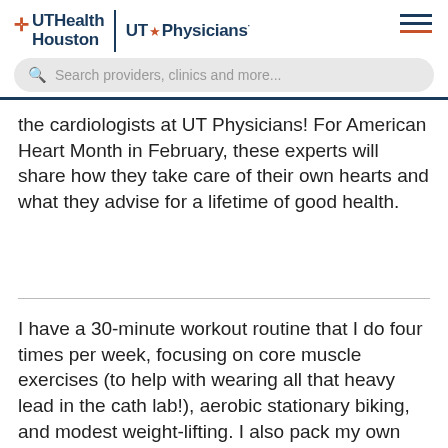UTHealth Houston | UT Physicians
the cardiologists at UT Physicians! For American Heart Month in February, these experts will share how they take care of their own hearts and what they advise for a lifetime of good health.
I have a 30-minute workout routine that I do four times per week, focusing on core muscle exercises (to help with wearing all that heavy lead in the cath lab!), aerobic stationary biking, and modest weight-lifting. I also pack my own lunch to work and avoid soft drinks completely.